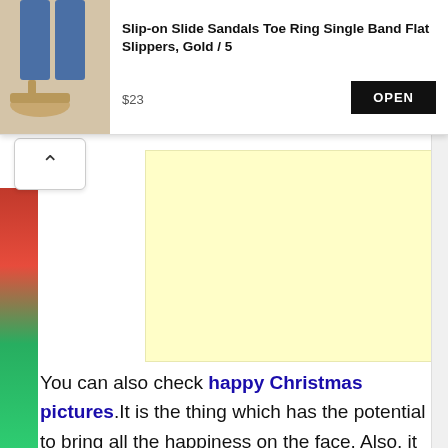[Figure (screenshot): E-commerce advertisement banner for slip-on slide sandals. Shows product image on the left, product title 'Slip-on Slide Sandals Toe Ring Single Band Flat Slippers, Gold / 5', price '$23', and a black 'OPEN' button on the right.]
[Figure (other): Yellow/cream colored advertisement placeholder box]
You can also check happy Christmas pictures.It is the thing which has the potential to bring all the happiness on the face. Also, it will lead the kids to the world of joy during this beautiful occasion. Apart from western countries, other country people would like to celebrate this day in a traditional manner. This is how the people celebrate across the globe for the festive season every